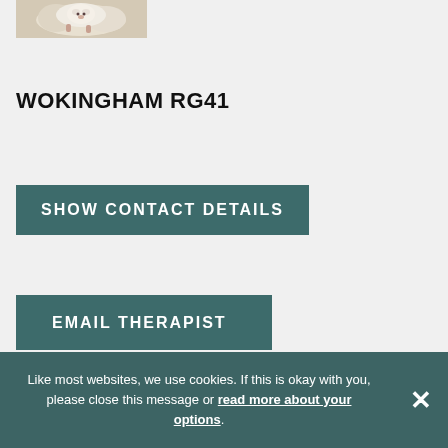[Figure (photo): A small fluffy white animal (lamb or similar) photo cropped at top of page]
WOKINGHAM RG41
SHOW CONTACT DETAILS
EMAIL THERAPIST
Like most websites, we use cookies. If this is okay with you, please close this message or read more about your options.